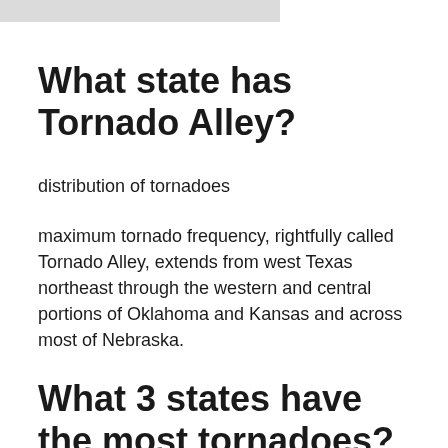What state has Tornado Alley?
distribution of tornadoes
maximum tornado frequency, rightfully called Tornado Alley, extends from west Texas northeast through the western and central portions of Oklahoma and Kansas and across most of Nebraska.
What 3 states have the most tornadoes?
Here are the 10 states with the highest